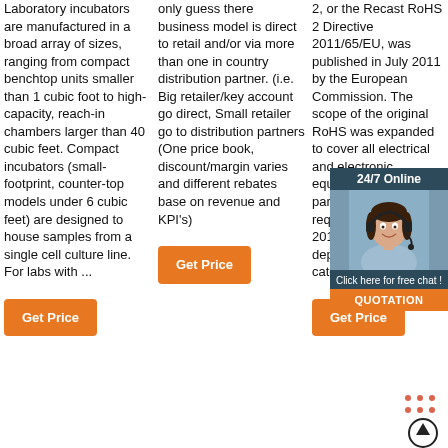Laboratory incubators are manufactured in a broad array of sizes, ranging from compact benchtop units smaller than 1 cubic foot to high-capacity, reach-in chambers larger than 40 cubic feet. Compact incubators (small-footprint, counter-top models under 6 cubic feet) are designed to house samples from a single cell culture line. For labs with ...
Get Price
only guess there business model is direct to retail and/or via more than one in country distribution partner. (i.e. Big retailer/key account go direct, Small retailer go to distribution partners (One price book, discount/margin varies and different rebates base on revenue and KPI's)
Get Price
2, or the Recast RoHS 2 Directive 2011/65/EU, was published in July 2011 by the European Commission. The scope of the original RoHS was expanded to cover all electrical and electronic equipment and spare parts with compliance required by July 22, 2019 or sooner depending on product category.
Get Price
[Figure (other): 24/7 Online chat widget with a woman wearing a headset and a 'Click here for free chat!' button with a QUOTATION orange button below.]